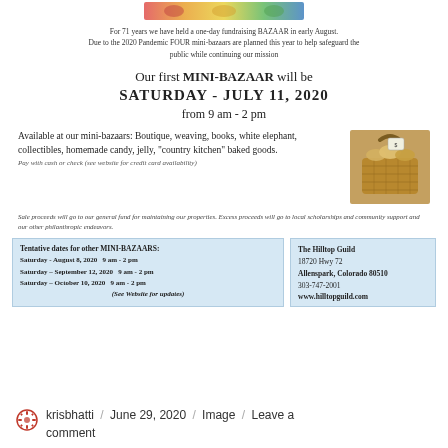[Figure (photo): Colorful banner/header image strip at top of page]
For 71 years we have held a one-day fundraising BAZAAR in early August. Due to the 2020 Pandemic FOUR mini-bazaars are planned this year to help safeguard the public while continuing our mission
Our first MINI-BAZAAR will be SATURDAY - JULY 11, 2020 from 9 am - 2 pm
Available at our mini-bazaars: Boutique, weaving, books, white elephant, collectibles, homemade candy, jelly, "country kitchen" baked goods.
Pay with cash or check (see website for credit card availability)
[Figure (photo): Photo of baked goods in a basket]
Sale proceeds will go to our general fund for maintaining our properties. Excess proceeds will go to local scholarships and community support and our other philanthropic endeavors.
Tentative dates for other MINI-BAZAARS:
Saturday - August 8, 2020   9 am - 2 pm
Saturday - September 12, 2020   9 am - 2 pm
Saturday - October 10, 2020   9 am - 2 pm
(See Website for updates)
The Hilltop Guild
18720 Hwy 72
Allenspark, Colorado 80510
303-747-2001
www.hilltopguild.com
krisbhatti / June 29, 2020 / Image / Leave a comment